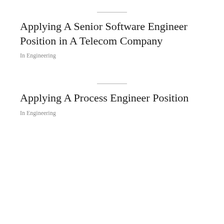Applying A Senior Software Engineer Position in A Telecom Company
In Engineering
Applying A Process Engineer Position
In Engineering